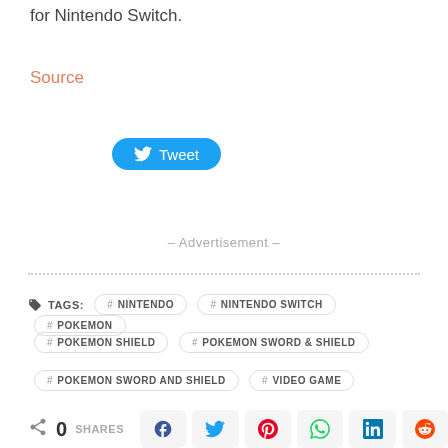for Nintendo Switch.
Source
[Figure (other): Tweet button with Twitter bird icon]
– Advertisement –
TAGS: # NINTENDO  # NINTENDO SWITCH  # POKEMON  # POKEMON SHIELD  # POKEMON SWORD & SHIELD  # POKEMON SWORD AND SHIELD  # VIDEO GAME
0 SHARES